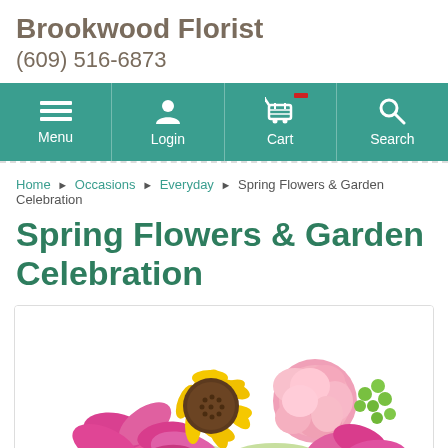Brookwood Florist
(609) 516-6873
[Figure (screenshot): Navigation bar with teal background containing Menu, Login, Cart, and Search icons]
Home › Occasions › Everyday › Spring Flowers & Garden Celebration
Spring Flowers & Garden Celebration
[Figure (photo): Colorful spring flower bouquet featuring a yellow sunflower, pink carnations, pink alstroemeria, and green berries]